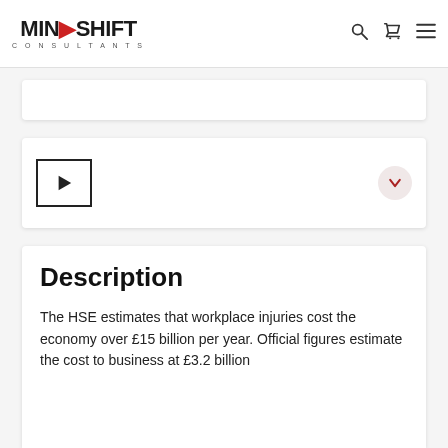[Figure (logo): MindShift Consultants logo with red play button triangle icon and navigation icons (search, cart, hamburger menu)]
[Figure (screenshot): Empty white card/panel]
[Figure (screenshot): Video player card with play button icon on left and red chevron down button on right]
Description
The HSE estimates that workplace injuries cost the economy over £15 billion per year. Official figures estimate the cost to business at £3.2 billion